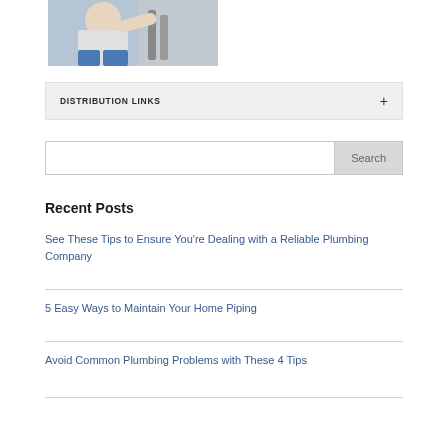[Figure (photo): Person working on plumbing pipes, wearing white shirt]
DISTRIBUTION LINKS
Search
Recent Posts
See These Tips to Ensure You're Dealing with a Reliable Plumbing Company
5 Easy Ways to Maintain Your Home Piping
Avoid Common Plumbing Problems with These 4 Tips